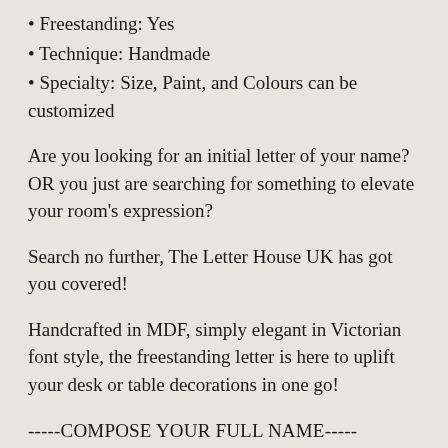• Freestanding: Yes
• Technique: Handmade
• Specialty: Size, Paint, and Colours can be customized
Are you looking for an initial letter of your name? OR you just are searching for something to elevate your room's expression?
Search no further, The Letter House UK has got you covered!
Handcrafted in MDF, simply elegant in Victorian font style, the freestanding letter is here to uplift your desk or table decorations in one go!
-----COMPOSE YOUR FULL NAME-----